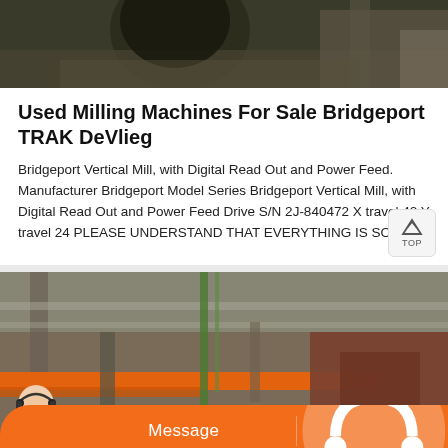[Figure (photo): Industrial machinery overhead view, dark tones with metal equipment]
Used Milling Machines For Sale Bridgeport TRAK DeVlieg
Bridgeport Vertical Mill, with Digital Read Out and Power Feed. Manufacturer Bridgeport Model Series Bridgeport Vertical Mill, with Digital Read Out and Power Feed Drive S/N 2J-840472 X travel 42 Y travel 24 PLEASE UNDERSTAND THAT EVERYTHING IS SOLD
[Figure (photo): Industrial warehouse interior with orange metal beams and lifting equipment]
[Figure (illustration): Customer service agent chat bar with Message and Online Chat buttons on orange background]